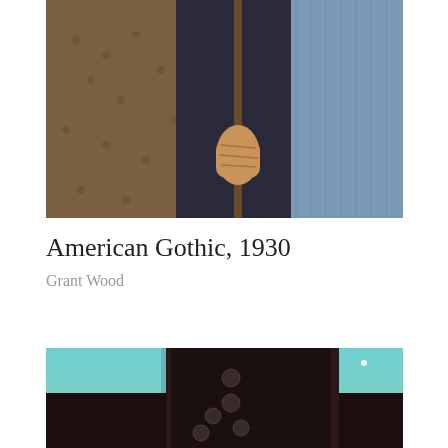[Figure (photo): Close-up crop of American Gothic painting showing torsos of two figures — a man in dark jacket holding a pitchfork and a woman in patterned dress beside him]
American Gothic, 1930
Grant Wood
[Figure (photo): Partial view of a painting showing a dark silhouetted figure/garment with circular buttons against a twilight sky with pale teal and yellow-green gradient, and a small white star or moon visible]